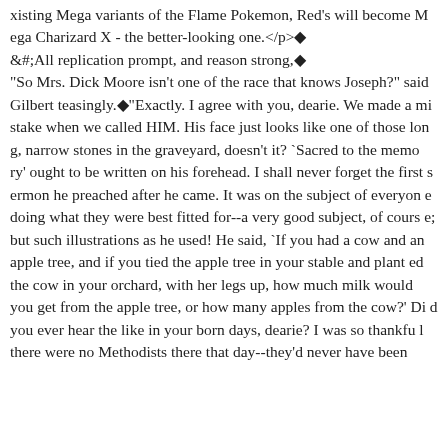xisting Mega variants of the Flame Pokemon, Red's will become Mega Charizard X - the better-looking one.</p>&#;All replication prompt, and reason strong,"So Mrs. Dick Moore isn't one of the race that knows Joseph?" said Gilbert teasingly."Exactly. I agree with you, dearie. We made a mistake when we called HIM. His face just looks like one of those long, narrow stones in the graveyard, doesn't it? `Sacred to the memory' ought to be written on his forehead. I shall never forget the first sermon he preached after he came. It was on the subject of everyone doing what they were best fitted for--a very good subject, of course; but such illustrations as he used! He said, `If you had a cow and an apple tree, and if you tied the apple tree in your stable and planted the cow in your orchard, with her legs up, how much milk would you get from the apple tree, or how many apples from the cow?' Did you ever hear the like in your born days, dearie? I was so thankful there were no Methodists there that day--they'd never have been